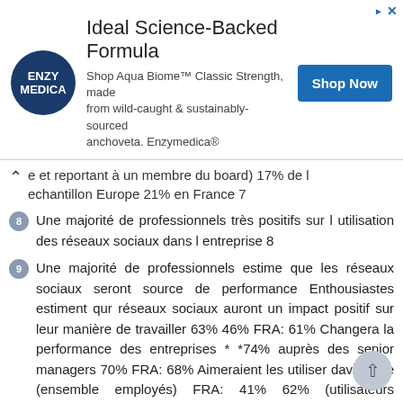[Figure (other): Advertisement banner for Enzymedica Aqua Biome product with logo, headline 'Ideal Science-Backed Formula', description text, and 'Shop Now' button]
e et reportant à un membre du board) 17% de l echantillon Europe 21% en France 7
8  Une majorité de professionnels très positifs sur l utilisation des réseaux sociaux dans l entreprise 8
9  Une majorité de professionnels estime que les réseaux sociaux seront source de performance Enthousiastes estiment qur réseaux sociaux auront un impact positif sur leur manière de travailler 63% 46% FRA: 61% Changera la performance des entreprises * *74% auprès des senior managers 70% FRA: 68% Aimeraient les utiliser davantage (ensemble employés) FRA: 41% 62% (utilisateurs fréquents) FRA: 61% 19.8% FRA: 21.2% Accroissement estimé de productivité/ d efficacité 9
10  Qui sont les enthousiastes? Une majorité d enthousiastes encore davantage auprès : Senior